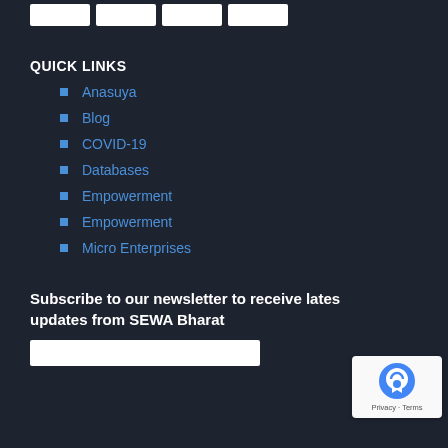[Figure (other): Row of white button placeholders at the top of the page]
QUICK LINKS
Anasuya
Blog
COVID-19
Databases
Empowerment
Empowerment
Micro Enterprises
Subscribe to our newsletter to receive latest updates from SEWA Bharat
[Figure (other): White input box for newsletter subscription]
[Figure (other): reCAPTCHA badge with Privacy - Terms text]